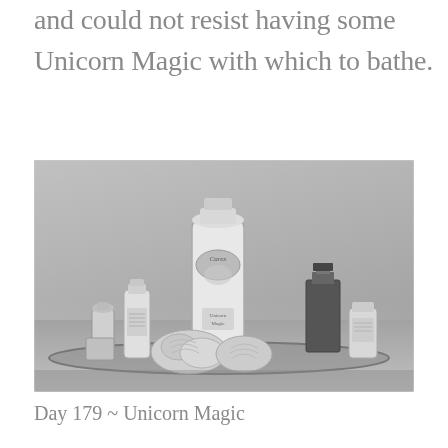and could not resist having some Unicorn Magic with which to bathe.
[Figure (photo): Black and white photograph of several bath and beauty products arranged on a round tray, including a tall Carex Unicorn Magic shower gel bottle in the center, smaller bottles and tubes on the left and right, and decorative coral or seashell pieces in the foreground.]
Day 179 ~ Unicorn Magic